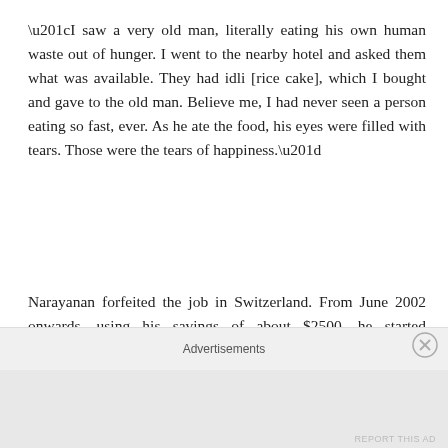“I saw a very old man, literally eating his own human waste out of hunger. I went to the nearby hotel and asked them what was available. They had idli [rice cake], which I bought and gave to the old man. Believe me, I had never seen a person eating so fast, ever. As he ate the food, his eyes were filled with tears. Those were the tears of happiness.”
Narayanan forfeited the job in Switzerland. From June 2002 onwards, using his savings of about $2500, he started distributing around 30 food packets a day for the destitute in and around Madurai City.
Narayanan Krishnan action reminds me of an incident in the
Advertisements